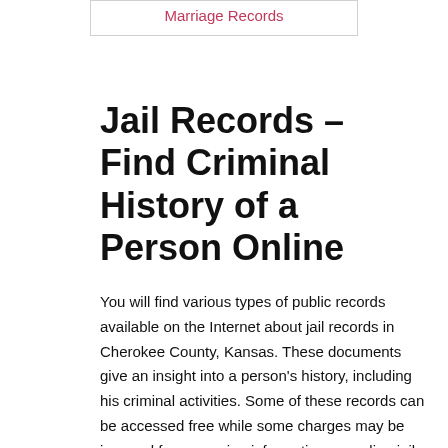Marriage Records
Jail Records – Find Criminal History of a Person Online
You will find various types of public records available on the Internet about jail records in Cherokee County, Kansas. These documents give an insight into a person's history, including his criminal activities. Some of these records can be accessed free while some charges may be incurred for accessing information regarding jail records in Cherokee County. In order to obtain free information you need to know the name of the